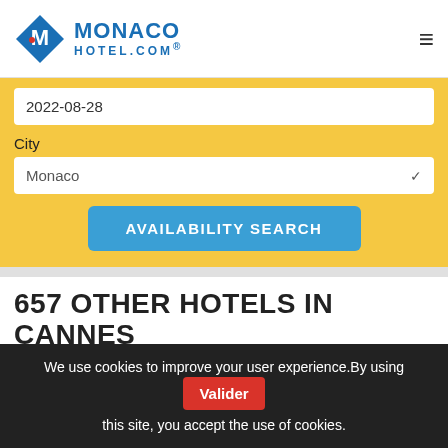MONACO HOTEL.COM®
2022-08-28
City
Monaco
AVAILABILITY SEARCH
657 OTHER HOTELS IN CANNES
[Figure (photo): Hotel exterior photo showing waterfront view of Five Seas Hotel Cannes]
FIVE SEAS HOTEL
★★★★★
Price not available
We use cookies to improve your user experience.By using this site, you accept the use of cookies.
Valider